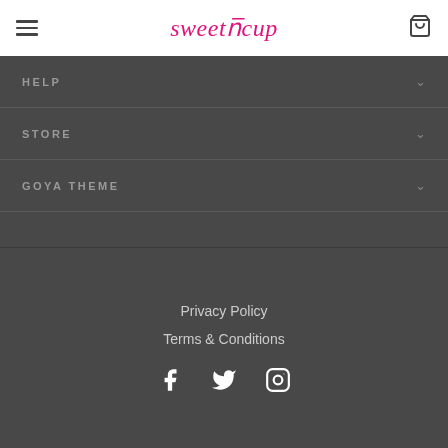sweetncup — navigation header with hamburger menu and cart icon
HELP
STORE
GOYA THEME
Privacy Policy
Terms & Conditions
[Figure (other): Social media icons: Facebook, Twitter, Instagram]